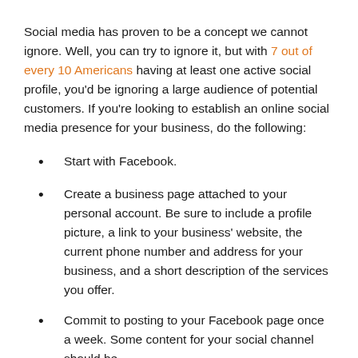Social media has proven to be a concept we cannot ignore. Well, you can try to ignore it, but with 7 out of every 10 Americans having at least one active social profile, you'd be ignoring a large audience of potential customers. If you're looking to establish an online social media presence for your business, do the following:
Start with Facebook.
Create a business page attached to your personal account. Be sure to include a profile picture, a link to your business' website, the current phone number and address for your business, and a short description of the services you offer.
Commit to posting to your Facebook page once a week. Some content for your social channel should be...